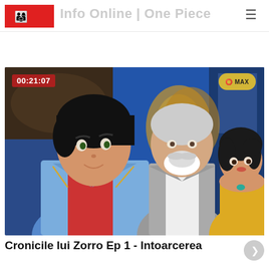Logo | Site title navigation header
[Figure (screenshot): Animated video thumbnail showing characters from Cronicile lui Zorro - a young man in a blue jacket, an older man with white beard, and a woman in yellow dress against a blue ornate background. Timestamp 00:21:07 shown top-left, channel logo top-right.]
Cronicile lui Zorro Ep 1 - Intoarcerea